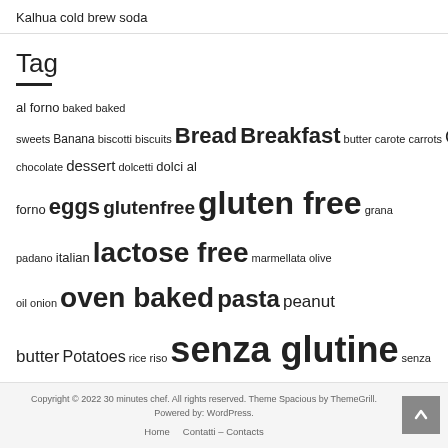Kalhua cold brew soda
Tag
al forno baked baked sweets Banana biscotti biscuits Bread Breakfast butter carote carrots Cheese chocolate cioccolato cream dark chocolate dessert dolcetti dolci al forno eggs glutenfree gluten free grana padano italian lactose free marmellata olive oil onion oven baked pasta peanut butter Potatoes rice riso senza glutine senza lattosio Skyr sugar tomatoes uova vegan vegano vegetables vegetarian vegetariano
Copyright © 2022 30 minutes chef. All rights reserved. Theme Spacious by ThemeGrill. Powered by: WordPress.
Home    Contatti – Contacts